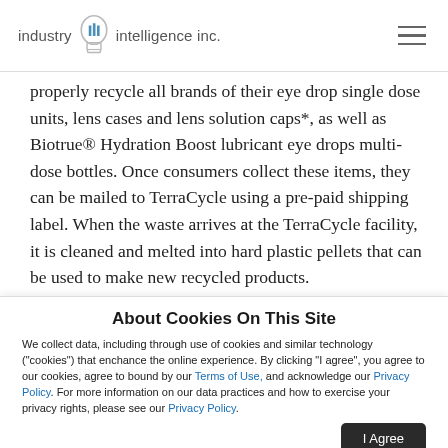industry iii intelligence inc.
properly recycle all brands of their eye drop single dose units, lens cases and lens solution caps*, as well as Biotrue® Hydration Boost lubricant eye drops multi-dose bottles. Once consumers collect these items, they can be mailed to TerraCycle using a pre-paid shipping label. When the waste arrives at the TerraCycle facility, it is cleaned and melted into hard plastic pellets that can be used to make new recycled products.
About the ONE by ONE Recycling Program
About Cookies On This Site

We collect data, including through use of cookies and similar technology ("cookies") that enchance the online experience. By clicking "I agree", you agree to our cookies, agree to bound by our Terms of Use, and acknowledge our Privacy Policy. For more information on our data practices and how to exercise your privacy rights, please see our Privacy Policy.